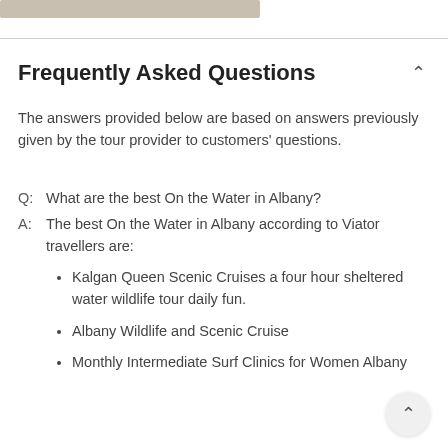[Figure (photo): Partial image strip at top of page]
Frequently Asked Questions
The answers provided below are based on answers previously given by the tour provider to customers' questions.
Q:  What are the best On the Water in Albany?
A:  The best On the Water in Albany according to Viator travellers are:
Kalgan Queen Scenic Cruises a four hour sheltered water wildlife tour daily fun.
Albany Wildlife and Scenic Cruise
Monthly Intermediate Surf Clinics for Women Albany